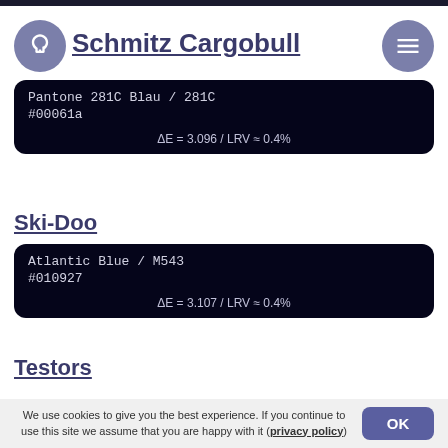Schmitz Cargobull
Pantone 281C Blau / 281C
#00061a
ΔE = 3.096 / LRV ≈ 0.4%
Ski-Doo
Atlantic Blue / M543
#010927
ΔE = 3.107 / LRV ≈ 0.4%
Testors
Mitsubishi
Bright Blue / ZF
We use cookies to give you the best experience. If you continue to use this site we assume that you are happy with it (privacy policy)